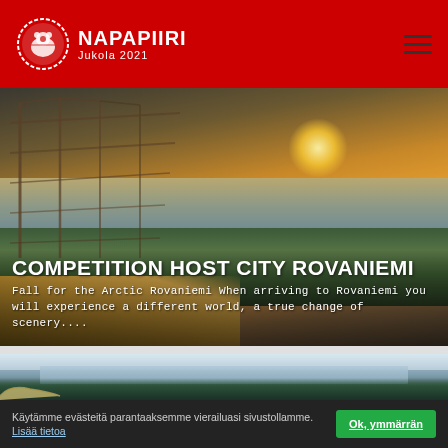NAPAPIIRI Jukola 2021
[Figure (photo): Hero landscape photo showing a lake with sunset, golden grasses, green vegetation, and a greenhouse-like structure on the left. Overlaid with text about Competition Host City Rovaniemi.]
COMPETITION HOST CITY ROVANIEMI
Fall for the Arctic Rovaniemi When arriving to Rovaniemi you will experience a different world, a true change of scenery....
[Figure (photo): Aerial/elevated photo of a Finnish lake landscape with forested shores, calm water, and a winding road near the water's edge.]
Käytämme evästeitä parantaaksemme vierailuasi sivustollamme. Lisää tietoa  Ok, ymmärrän